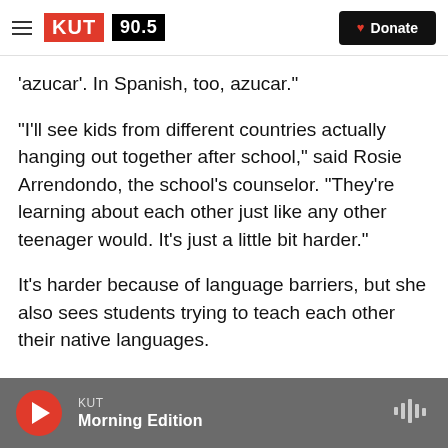KUT 90.5 — Donate
'azucar'. In Spanish, too, azucar."
"I'll see kids from different countries actually hanging out together after school," said Rosie Arrendondo, the school's counselor. "They're learning about each other just like any other teenager would. It's just a little bit harder."
It's harder because of language barriers, but she also sees students trying to teach each other their native languages.
KUT Morning Edition